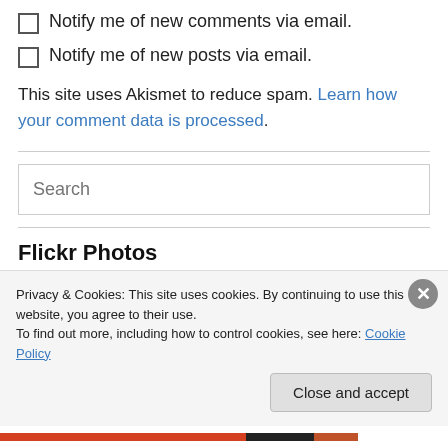Notify me of new comments via email.
Notify me of new posts via email.
This site uses Akismet to reduce spam. Learn how your comment data is processed.
[Figure (screenshot): Search input field with placeholder text 'Search']
Flickr Photos
Privacy & Cookies: This site uses cookies. By continuing to use this website, you agree to their use.
To find out more, including how to control cookies, see here: Cookie Policy
Close and accept